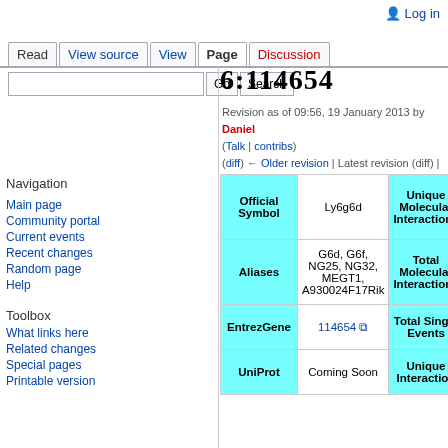Log in
Read | View source | View | Page | Discussion
6:114654
Revision as of 09:56, 19 January 2013 by Daniel (Talk | contribs)
(diff) ← Older revision | Latest revision (diff) | Newer revision → (diff)
Navigation
Main page
Community portal
Current events
Recent changes
Random page
Help
Toolbox
What links here
Related changes
Special pages
Printable version
| Official Symbol |  | Unique Molecular Interactions |  |
| --- | --- | --- | --- |
| Official Symbol | Ly6g6d | Unique Molecular Interactions | 3 |
| Aliases | G6d, G6f, NG25, NG32, MEGT1, A930024F17Rik | Total Molecular Interactions | 3 |
| EntrezGene | 114654 | Total Single Events | 16 |
| UniProt | Coming Soon | Unique Interaction | 2 |